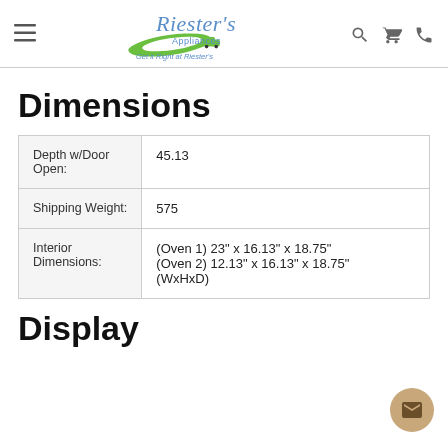Riester's Appliances — Get it Right at Riester's
Dimensions
|  |  |
| --- | --- |
| Depth w/Door Open: | 45.13 |
| Shipping Weight: | 575 |
| Interior Dimensions: | (Oven 1) 23" x 16.13" x 18.75" (Oven 2) 12.13" x 16.13" x 18.75" (WxHxD) |
Display